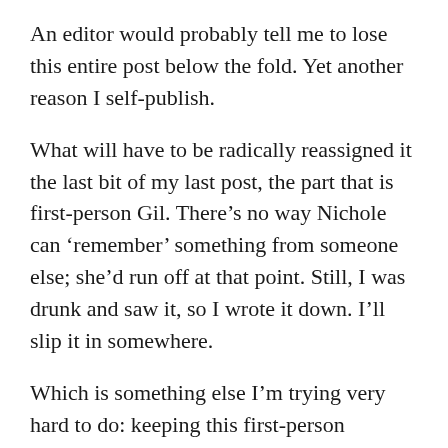An editor would probably tell me to lose this entire post below the fold.  Yet another reason I self-publish.
What will have to be radically reassigned it the last bit of my last post, the part that is first-person Gil.  There’s no way Nichole can ‘remember’ something from someone else; she’d run off at that point.  Still, I was drunk and saw it, so I wrote it down.  I’ll slip it in somewhere.
Which is something else I’m trying very hard to do:  keeping this first-person Nichole.  While my books have (few) good reviews on Amazon, there is particular criticism of how much I flick from character to character.  I realize it is – hopefully becoming was – a bad habit of mine:  as you all know, I ‘see’ these scene and write them down.